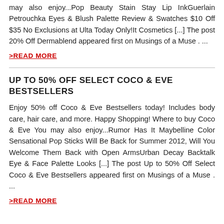may also enjoy...Pop Beauty Stain Stay Lip InkGuerlain Petrouchka Eyes & Blush Palette Review & Swatches $10 Off $35 No Exclusions at Ulta Today Only!It Cosmetics [...] The post 20% Off Dermablend appeared first on Musings of a Muse . ...
>READ MORE
UP TO 50% OFF SELECT COCO & EVE BESTSELLERS
Enjoy 50% off Coco & Eve Bestsellers today! Includes body care, hair care, and more. Happy Shopping! Where to buy Coco & Eve You may also enjoy...Rumor Has It Maybelline Color Sensational Pop Sticks Will Be Back for Summer 2012, Will You Welcome Them Back with Open ArmsUrban Decay Backtalk Eye & Face Palette Looks [...] The post Up to 50% Off Select Coco & Eve Bestsellers appeared first on Musings of a Muse . ...
>READ MORE